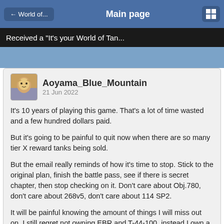← World of...   Main page   [grid icon]
Received a "It's your World of Tan...
Aoyama_Blue_Mountain
21 Jun 2022
It's 10 years of playing this game. That's a lot of time wasted and a few hundred dollars paid.
But it's going to be painful to quit now when there are so many tier X reward tanks being sold.
But the email really reminds of how it's time to stop. Stick to the original plan, finish the battle pass, see if there is secret chapter, then stop checking on it. Don't care about Obj.780, don't care about 268v5, don't care about 114 SP2.
It will be painful knowing the amount of things I will miss out on. I still regret not owning EBR and T-44-100, instead I own a few other